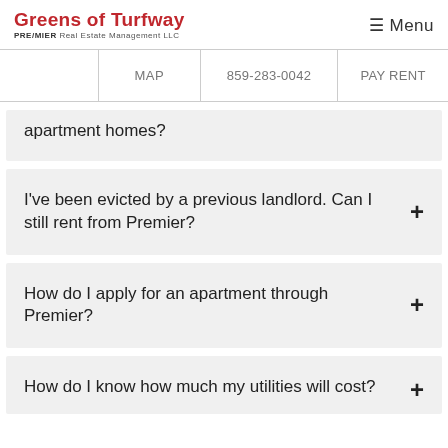Greens of Turfway | PREMIER Real Estate Management LLC | Menu
|  | MAP | 859-283-0042 | PAY RENT |
| --- | --- | --- | --- |
|  |
apartment homes?
I've been evicted by a previous landlord. Can I still rent from Premier?
How do I apply for an apartment through Premier?
How do I know how much my utilities will cost?